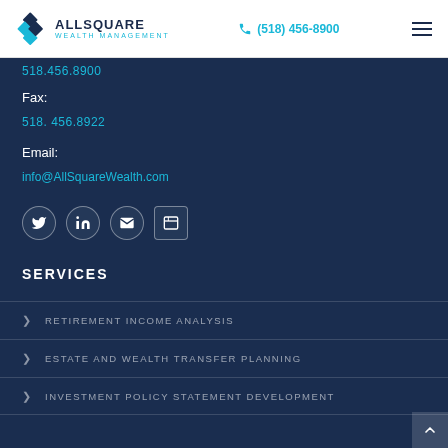AllSquare Wealth Management | (518) 456-8900
518.456.8900
Fax:
518. 456.8922
Email:
info@AllSquareWealth.com
[Figure (infographic): Social media icon buttons: Twitter, LinkedIn, Email, Browser]
SERVICES
RETIREMENT INCOME ANALYSIS
ESTATE AND WEALTH TRANSFER PLANNING
INVESTMENT POLICY STATEMENT DEVELOPMENT